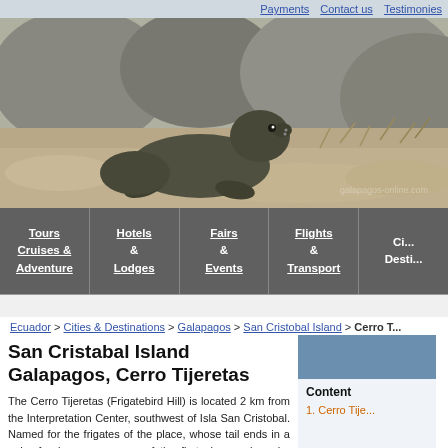Payments   Contact us   Testimonies
[Figure (photo): A sea lion / fur seal pup on rocky sandy ground in the Galapagos Islands, with boulders in the background]
Tours Cruises & Adventure | Hotels & Lodges | Fairs & Events | Flights & Transport | Ci... Desti...
Ecuador > Cities & Destinations > Galapagos > San Cristobal Island > Cerro T...
San Cristabal Island Galapagos, Cerro Tijeretas
The Cerro Tijeretas (Frigatebird Hill) is located 2 km from the Interpretation Center, southwest of Isla San Cristobal. Named for the frigates of the place, whose tail ends in a pair of scissors, was one of the first places where he landed the English biologist Charles Robert Darwin. It is the ideal place to enjoy a spectacular
Content
1. Cerro Tije...